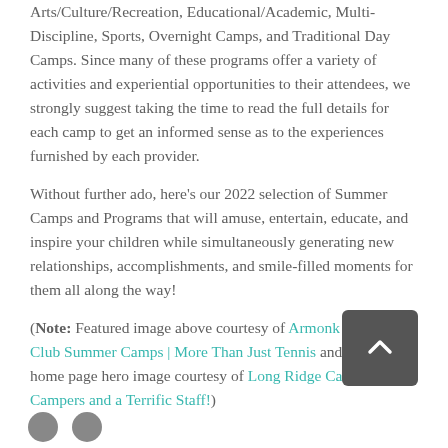Arts/Culture/Recreation, Educational/Academic, Multi-Discipline, Sports, Overnight Camps, and Traditional Day Camps. Since many of these programs offer a variety of activities and experiential opportunities to their attendees, we strongly suggest taking the time to read the full details for each camp to get an informed sense as to the experiences furnished by each provider.
Without further ado, here's our 2022 selection of Summer Camps and Programs that will amuse, entertain, educate, and inspire your children while simultaneously generating new relationships, accomplishments, and smile-filled moments for them all along the way!
(Note: Featured image above courtesy of Armonk Tennis Club Summer Camps | More Than Just Tennis and featured home page hero image courtesy of Long Ridge Camp | Great Campers and a Terrific Staff!)